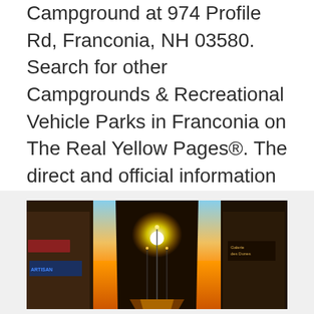Campground at 974 Profile Rd, Franconia, NH 03580. Search for other Campgrounds & Recreational Vehicle Parks in Franconia on The Real Yellow Pages®. The direct and official information for Fransted Family Campground in Franconia, New Hampshire. This includes the Official website, phone number, location map, reviews and photos.
[Figure (photo): Street-level photo of a narrow urban alley at golden sunset, with warm orange-yellow light flooding between buildings on both sides. Storefronts visible including signs reading 'Galerie des Dunes' on the right. Overhead lamp posts line the street leading toward a bright sun on the horizon.]